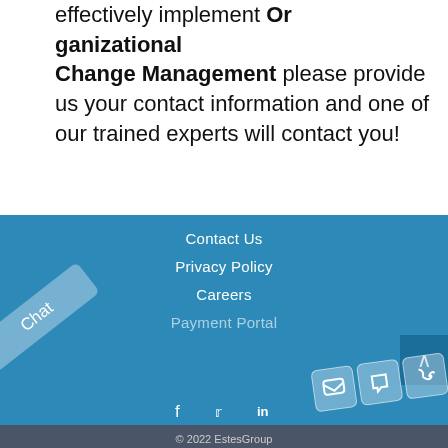effectively implement Organizational Change Management please provide us your contact information and one of our trained experts will contact you!
Contact Us
Privacy Policy
Careers
Payment Portal
[Figure (screenshot): Chat button overlay and social contact icons (speech bubble, envelope, phone) on blue footer background]
© 2022 EstesGroup